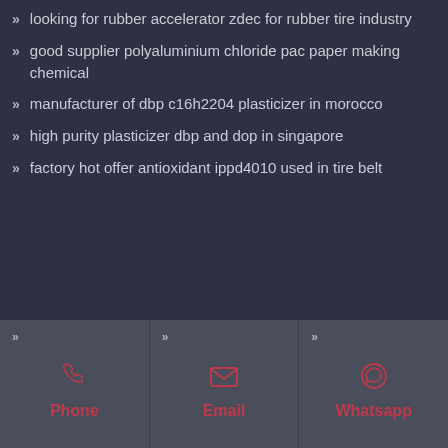» looking for rubber accelerator zdec for rubber tire industry
» good supplier polyaluminium chloride pac paper making chemical
» manufacturer of dbp c16h2204 plasticizer in morocco
» high purity plasticizer dbp and dop in singapore
» factory hot offer antioxidant ippd4010 used in tire belt
[Figure (infographic): Footer bar with three contact options: Phone (phone icon), Email (envelope icon), Whatsapp (whatsapp icon), each in a column with a chevron marker and red label.]